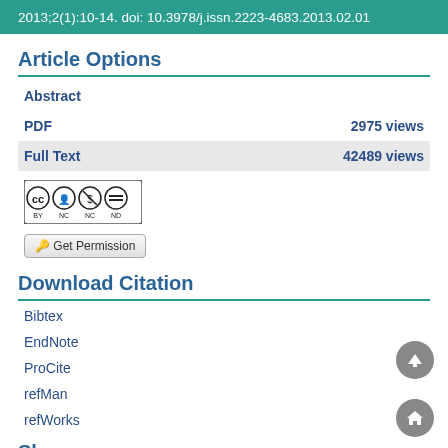2013;2(1):10-14. doi: 10.3978/j.issn.2223-4683.2013.02.01
Article Options
Abstract
PDF  2975 views
Full Text  42489 views
[Figure (logo): Creative Commons BY-NC-ND license badge]
Get Permission
Download Citation
Bibtex
EndNote
ProCite
refMan
refWorks
Share